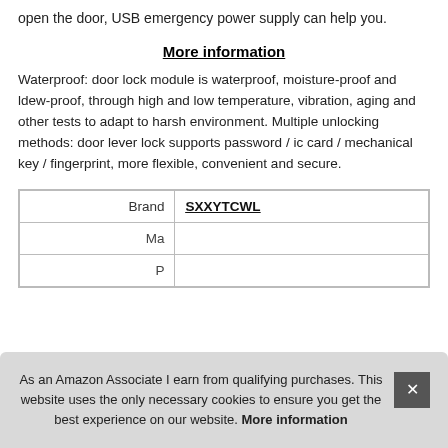open the door, USB emergency power supply can help you.
More information
Waterproof: door lock module is waterproof, moisture-proof and ldew-proof, through high and low temperature, vibration, aging and other tests to adapt to harsh environment. Multiple unlocking methods: door lever lock supports password / ic card / mechanical key / fingerprint, more flexible, convenient and secure.
| Brand |  |
| --- | --- |
| Brand | SXXYTCWL |
| Ma |  |
| P |  |
As an Amazon Associate I earn from qualifying purchases. This website uses the only necessary cookies to ensure you get the best experience on our website. More information